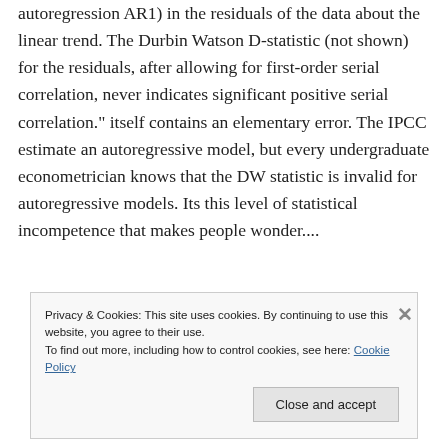autoregression AR1) in the residuals of the data about the linear trend. The Durbin Watson D-statistic (not shown) for the residuals, after allowing for first-order serial correlation, never indicates significant positive serial correlation." itself contains an elementary error. The IPCC estimate an autoregressive model, but every undergraduate econometrician knows that the DW statistic is invalid for autoregressive models. Its this level of statistical incompetence that makes people wonder....
Privacy & Cookies: This site uses cookies. By continuing to use this website, you agree to their use.
To find out more, including how to control cookies, see here: Cookie Policy